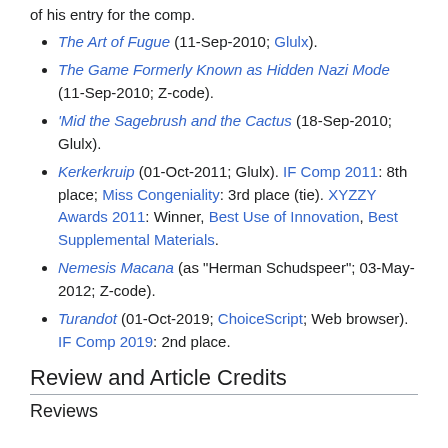of his entry for the comp.
The Art of Fugue (11-Sep-2010; Glulx).
The Game Formerly Known as Hidden Nazi Mode (11-Sep-2010; Z-code).
'Mid the Sagebrush and the Cactus (18-Sep-2010; Glulx).
Kerkerkruip (01-Oct-2011; Glulx). IF Comp 2011: 8th place; Miss Congeniality: 3rd place (tie). XYZZY Awards 2011: Winner, Best Use of Innovation, Best Supplemental Materials.
Nemesis Macana (as "Herman Schudspeer"; 03-May-2012; Z-code).
Turandot (01-Oct-2019; ChoiceScript; Web browser). IF Comp 2019: 2nd place.
Review and Article Credits
Reviews